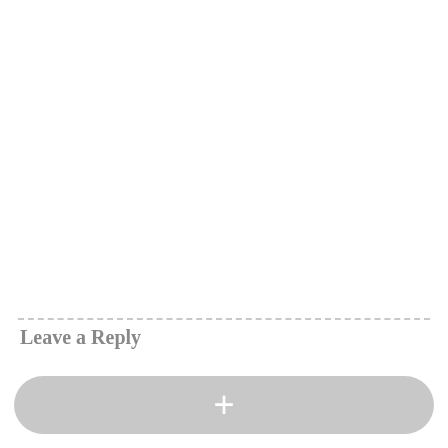Leave a Reply
[Figure (other): A rounded gray button bar with a white plus (+) icon centered inside it, positioned at the bottom of the page.]